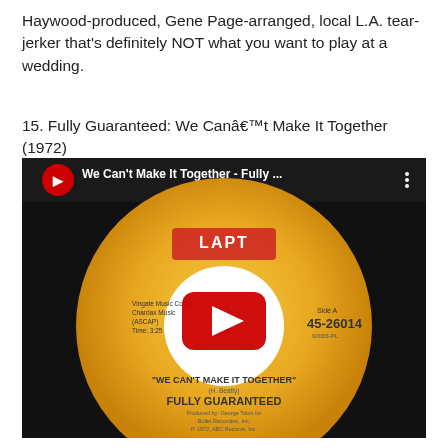Haywood-produced, Gene Page-arranged, local L.A. tear-jerker that's definitely NOT what you want to play at a wedding.
15. Fully Guaranteed: We Canâ€™t Make It Together (1972)
[Figure (screenshot): YouTube video thumbnail showing a vinyl record label for 'We Can't Make It Together' by Fully Guaranteed on LAPT/ABC Records (45-26014). The label is orange/yellow, displays the song title and artist, with production credits to George Tobin for Bullet Recorders, Inc. A red YouTube play button is overlaid in the center. The video title bar reads 'We Can't Make It Together - Fully ...' with the YouTube logo and menu icon.]